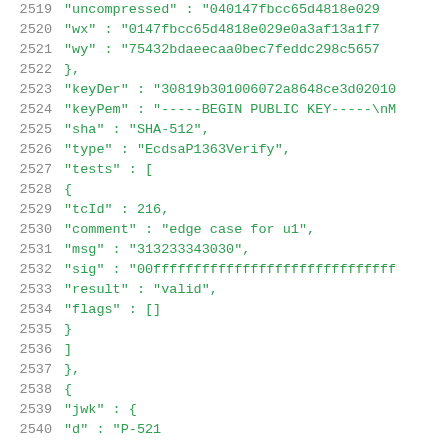Code listing lines 2519-2540: JSON structure showing cryptographic test vector data including uncompressed key, wx, wy, keyDer, keyPem, sha, type, tests array with tcId 216, comment edge case for u1, msg, sig, result valid, flags, followed by new object with jwk